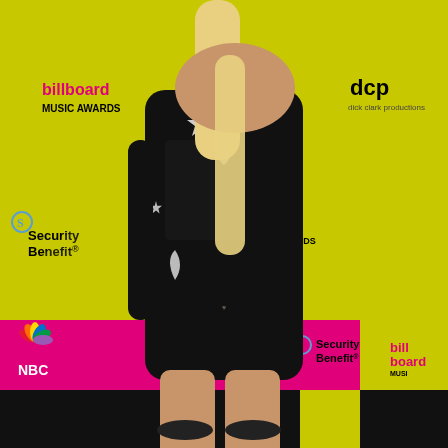[Figure (photo): A woman wearing a black mini dress with silver star, moon, and heart embellishments and a sheer corset panel, with long blonde hair and black heeled pumps, posing at the Billboard Music Awards red carpet. The background step-and-repeat banner features logos for Billboard Music Awards, Security Benefit, NBC, and dcp (dick clark productions) on a yellow and pink background.]